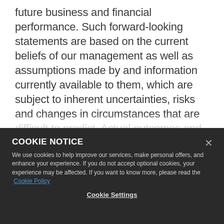future business and financial performance. Such forward-looking statements are based on the current beliefs of our management as well as assumptions made by and information currently available to them, which are subject to inherent uncertainties, risks and changes in circumstances that are difficult to predict. Actual outcomes and results may vary materially from these
COOKIE NOTICE
We use cookies to help improve our services, make personal offers, and enhance your experience. If you do not accept optional cookies, your experience may be affected. If you want to know more, please read the Cookie Policy
Cookie Settings